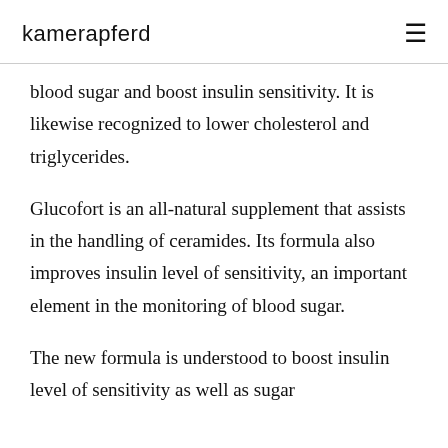kamerapferd
blood sugar and boost insulin sensitivity. It is likewise recognized to lower cholesterol and triglycerides.
Glucofort is an all-natural supplement that assists in the handling of ceramides. Its formula also improves insulin level of sensitivity, an important element in the monitoring of blood sugar.
The new formula is understood to boost insulin level of sensitivity as well as sugar